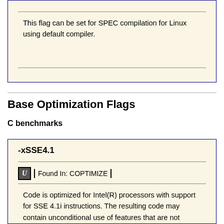This flag can be set for SPEC compilation for Linux using default compiler.
Base Optimization Flags
C benchmarks
-xSSE4.1
Found In: COPTIMIZE
Code is optimized for Intel(R) processors with support for SSE 4.1i instructions. The resulting code may contain unconditional use of features that are not supported on other processors. This